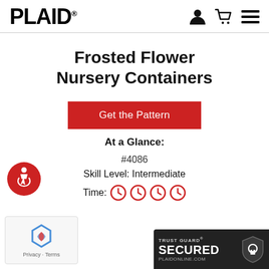PLAID®
Frosted Flower Nursery Containers
Get the Pattern
At a Glance:
#4086
Skill Level: Intermediate
Time:
[Figure (logo): Accessibility icon - red circle with wheelchair user symbol]
[Figure (logo): reCAPTCHA widget with Privacy - Terms text]
[Figure (logo): Trust Guard Secured badge - dark background with shield icon and PLAIDONLINE.COM text]